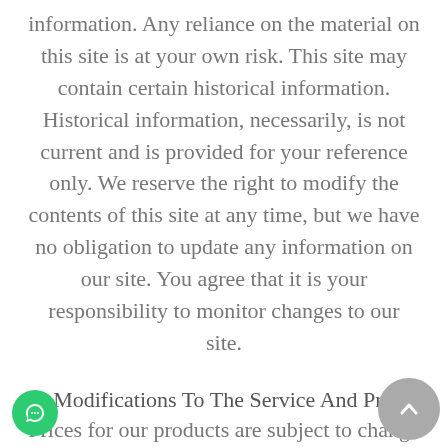information. Any reliance on the material on this site is at your own risk. This site may contain certain historical information. Historical information, necessarily, is not current and is provided for your reference only. We reserve the right to modify the contents of this site at any time, but we have no obligation to update any information on our site. You agree that it is your responsibility to monitor changes to our site.
5. Modifications To The Service And Prices
Prices for our products are subject to change